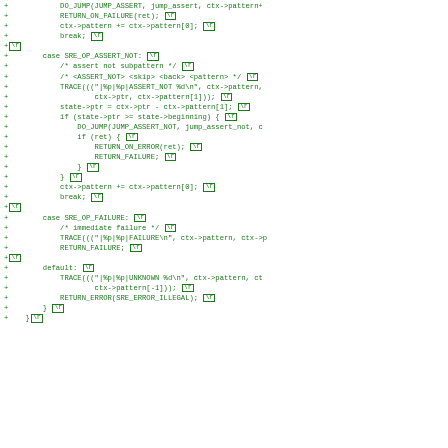[Figure (screenshot): Diff/patch view of C source code showing additions (lines prefixed with +) implementing SRE regex engine opcodes: SRE_OP_ASSERT_NOT and SRE_OP_FAILURE and default cases, with \r newline markers shown as boxed \r tokens in green monospace font on white background.]